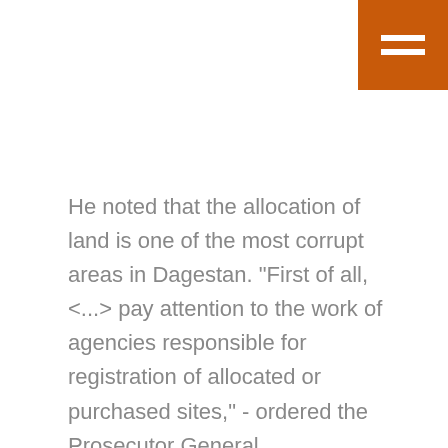[Figure (other): Orange/brown square button with two white horizontal bars (hamburger menu icon) in the top-right corner]
He noted that the allocation of land is one of the most corrupt areas in Dagestan. "First of all, <...> pay attention to the work of agencies responsible for registration of allocated or purchased sites," - ordered the Prosecutor General.
The deputies of the People's Assembly of Dagestan agreed on Mr. Popov's candidacy for the post of the republic's prosecutor on February 1. His predecessor, Ramazan Shahnavazov, who headed the supervisory authority since April 2013, left his post without returning from vacation. At the same time, a new republican law on